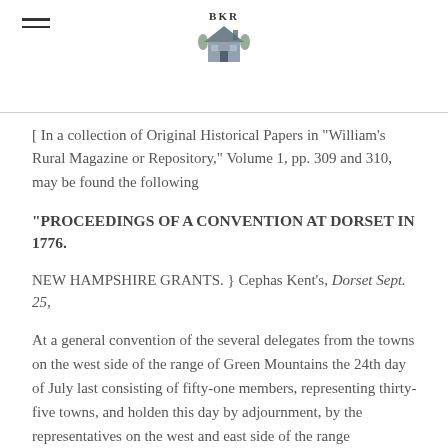BKR
[Figure (illustration): Small illustration of a house/building with trees, in a watercolor or engraving style]
[ In a collection of Original Historical Papers in "William's Rural Magazine or Repository," Volume 1, pp. 309 and 310, may be found the following
"PROCEEDINGS OF A CONVENTION AT DORSET IN 1776.
NEW HAMPSHIRE GRANTS. } Cephas Kent's, Dorset Sept. 25,
At a general convention of the several delegates from the towns on the west side of the range of Green Mountains the 24th day of July last consisting of fifty-one members, representing thirty-five towns, and holden this day by adjournment, by the representatives on the west and east side of the range